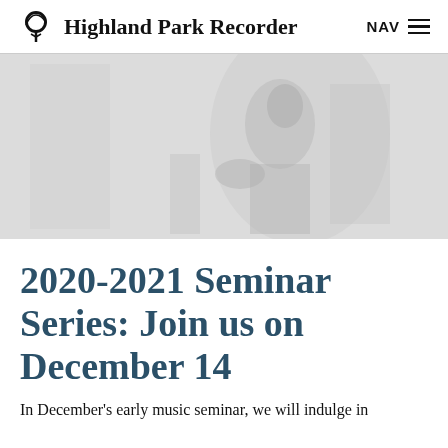Highland Park Recorder
[Figure (photo): A faded, grayscale photograph of a person, possibly a musician or performer, seated or leaning, with soft lighting creating a pale, washed-out appearance.]
2020-2021 Seminar Series: Join us on December 14
In December's early music seminar, we will indulge in